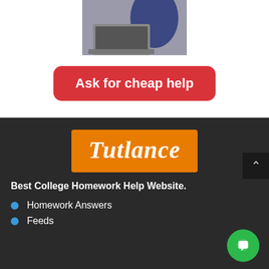[Figure (photo): Person in blue shirt using a laptop, viewed from behind/side]
Ask for cheap help
[Figure (logo): Tutlance logo — white cursive text on orange rounded rectangle background]
Best College Homework Help Website.
Homework Answers
Feeds